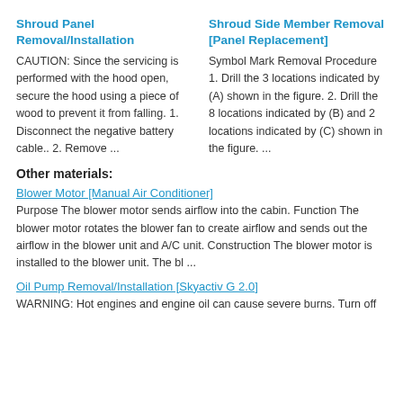Shroud Panel Removal/Installation
CAUTION: Since the servicing is performed with the hood open, secure the hood using a piece of wood to prevent it from falling. 1. Disconnect the negative battery cable.. 2. Remove ...
Shroud Side Member Removal [Panel Replacement]
Symbol Mark Removal Procedure 1. Drill the 3 locations indicated by (A) shown in the figure. 2. Drill the 8 locations indicated by (B) and 2 locations indicated by (C) shown in the figure. ...
Other materials:
Blower Motor [Manual Air Conditioner]
Purpose The blower motor sends airflow into the cabin. Function The blower motor rotates the blower fan to create airflow and sends out the airflow in the blower unit and A/C unit. Construction The blower motor is installed to the blower unit. The bl ...
Oil Pump Removal/Installation [Skyactiv G 2.0]
WARNING: Hot engines and engine oil can cause severe burns. Turn off